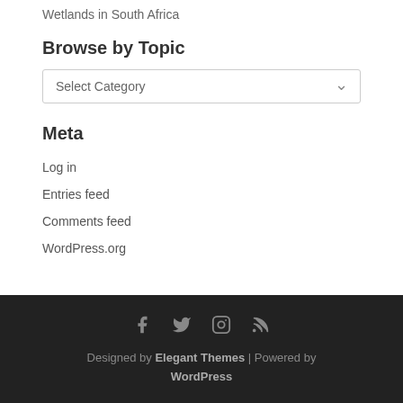Wetlands in South Africa
Browse by Topic
Select Category
Meta
Log in
Entries feed
Comments feed
WordPress.org
Designed by Elegant Themes | Powered by WordPress